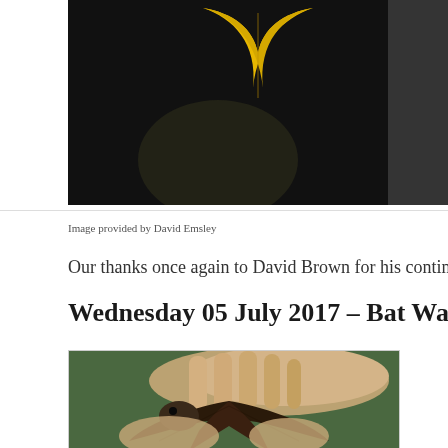[Figure (photo): Close-up photo of a yellow leaf against a dark/black background, partially cropped]
Image provided by David Emsley
Our thanks once again to David Brown for his continued support
Wednesday 05 July 2017 – Bat Walk
[Figure (photo): Close-up photo of hands holding a small bat, showing the bat's wing membrane spread open]